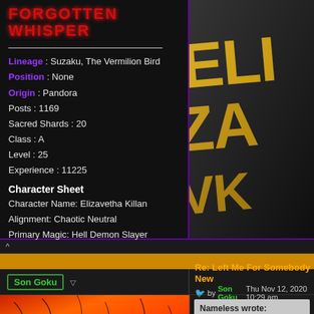FORGOTTEN WHISPER
Lineage : Suzaku, The Vermilion Bird
Position : None
Origin : Pandora
Posts : 1169
Sacred Shards : 20
Class : A
Level : 25
Experience : 11225
Character Sheet
Character Name: Elizavetha Killan
Alignment: Chaotic Neutral
Primary Magic: Hell Demon Slayer
[Figure (illustration): Large golden stylized letters spelling ELIZAVETHA KILLAN on dark background]
^
Re: Left Me For Somebody New
Son Goku ▽
by Son Goku Thu Nov 12, 2020 10:29 am
[Figure (illustration): Orange and red cracked lava texture image]
Nameless wrote:
Ravage Bones wrote: